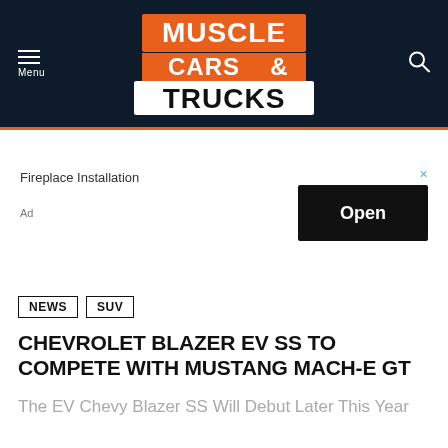MUSCLE CARS & TRUCKS
[Figure (logo): Muscle Cars & Trucks website logo in orange and white on dark navy background, with hamburger menu icon and search icon]
Fireplace Installation
Ad
Open
NEWS
SUV
CHEVROLET BLAZER EV SS TO COMPETE WITH MUSTANG MACH-E GT
The EV Chevy Blazer SS Will Debut Later This Year